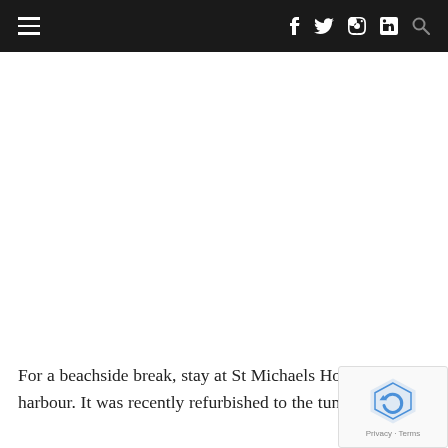≡  f  𝕏  ⓘ  in  🔍
[Figure (other): White blank space, likely where an image of St Michaels Hotel would appear]
For a beachside break, stay at St Michaels Hotel among sub-tropical gardens, and just a stone's through from the pretty harbour. It was recently refurbished to the tune of £8 million and offers a cool modern spa, fitness